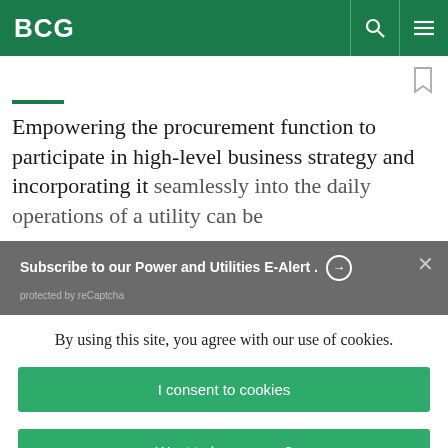BCG
Empowering the procurement function to participate in high-level business strategy and incorporating it seamlessly into the daily operations of a utility can be
Subscribe to our Power and Utilities E-Alert. ➜
protected by reCaptcha
By using this site, you agree with our use of cookies.
I consent to cookies
Want to know more?
Read our Cookie Policy